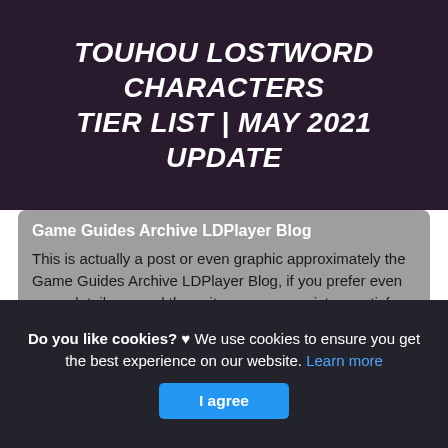Touhou LostWord Characters Tier List | May 2021 Update
Game Guides Archive LDPlayer Blog
This is actually a post or even graphic approximately the Game Guides Archive LDPlayer Blog, if you prefer even more details around the write-up or even picture satisfy hit or even see the adhering to web link or even web link .
(Read More)
Source: www.ldplayer.net Visit Web
Do you like cookies? ♥ We use cookies to ensure you get the best experience on our website. Learn more
I agree